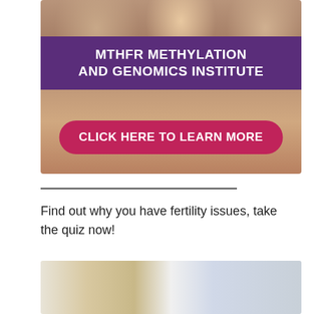[Figure (photo): Banner advertisement for MTHFR Methylation and Genomics Institute. Shows people reviewing documents in background. Purple overlay banner with white bold text reading 'MTHFR METHYLATION AND GENOMICS INSTITUTE'. Red/crimson rounded button at bottom reading 'CLICK HERE TO LEARN MORE'.]
Find out why you have fertility issues, take the quiz now!
[Figure (photo): Partial photo at bottom showing people, partially cut off.]